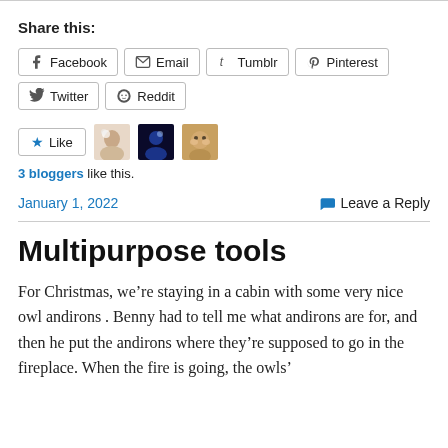Share this:
Facebook  Email  Tumblr  Pinterest  Twitter  Reddit
[Figure (other): Like button with star icon and three blogger avatar images]
3 bloggers like this.
January 1, 2022    Leave a Reply
Multipurpose tools
For Christmas, we’re staying in a cabin with some very nice owl andirons . Benny had to tell me what andirons are for, and then he put the andirons where they’re supposed to go in the fireplace. When the fire is going, the owls’